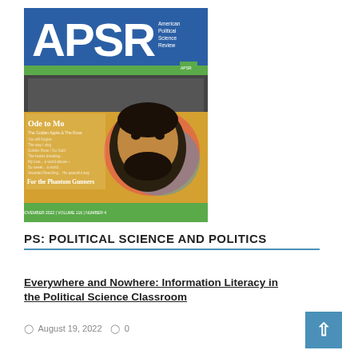[Figure (photo): Cover of APSR (American Political Science Review) journal/magazine. Blue header with large white 'APSR' text and 'American Political Science Review' in smaller text on the right. Below is a green band, then a photograph of a colorful street mural depicting a bearded man's face with text 'Ode to Mo' and other handwritten text. Bottom green band with volume/issue information.]
PS: POLITICAL SCIENCE AND POLITICS
Everywhere and Nowhere: Information Literacy in the Political Science Classroom
August 19, 2022   0